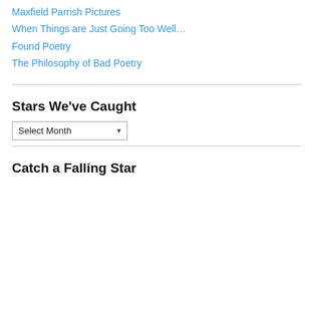Maxfield Parrish Pictures
When Things are Just Going Too Well…
Found Poetry
The Philosophy of Bad Poetry
Stars We've Caught
[Figure (other): Dropdown select box labelled 'Select Month' with a dropdown arrow]
Catch a Falling Star